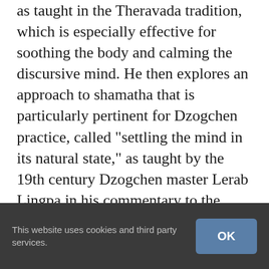as taught in the Theravada tradition, which is especially effective for soothing the body and calming the discursive mind. He then explores an approach to shamatha that is particularly pertinent for Dzogchen practice, called "settling the mind in its natural state," as taught by the 19th century Dzogchen master Lerab Lingpa in his commentary to the "Heart Essence of Vimalamitra." Finally, he engages the practices of "shamatha without a sign" as taught by Padmasambhava in his classic treatise Natural Liberation. Although
This website uses cookies and third party services.